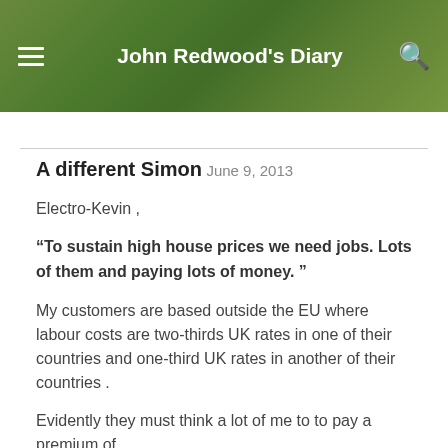John Redwood's Diary
A different Simon
June 9, 2013
Electro-Kevin ,
“To sustain high house prices we need jobs. Lots of them and paying lots of money. ”
My customers are based outside the EU where labour costs are two-thirds UK rates in one of their countries and one-third UK rates in another of their countries .
Evidently they must think a lot of me to to pay a premium of